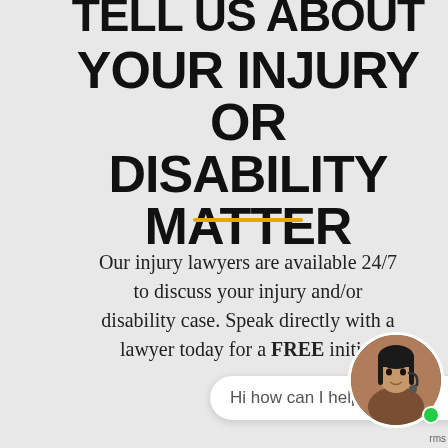TELL US ABOUT YOUR INJURY OR DISABILITY MATTER
[Figure (other): Gold/yellow horizontal divider line]
Our injury lawyers are available 24/7 to discuss your injury and/or disability case. Speak directly with a lawyer today for a FREE initial
[Figure (other): Chat bubble overlay with text 'Hi how can I help?' and circular avatar photo of a woman with headset and green online indicator dot]